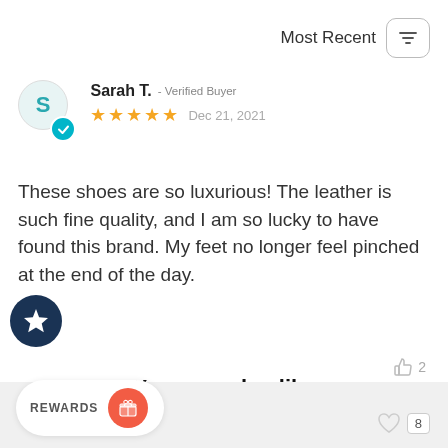Most Recent
Sarah T.  -  Verified Buyer
★★★★★  Dec 21, 2021
These shoes are so luxurious! The leather is such fine quality, and I am so lucky to have found this brand. My feet no longer feel pinched at the end of the day.
2
You may also like
REWARDS
8